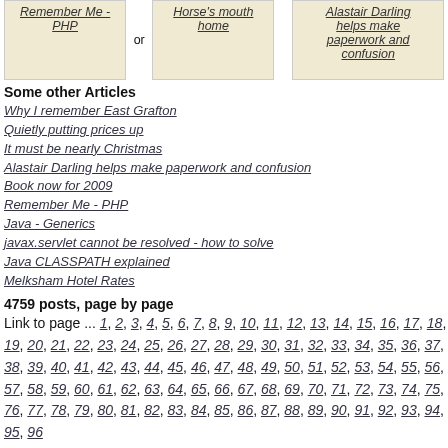[Figure (other): Three linked article boxes: 'Remember Me - PHP', 'or Horse's mouth home', 'Alastair Darling helps make paperwork and confusion']
Some other Articles
Why I remember East Grafton
Quietly putting prices up
It must be nearly Christmas
Alastair Darling helps make paperwork and confusion
Book now for 2009
Remember Me - PHP
Java - Generics
javax.servlet cannot be resolved - how to solve
Java CLASSPATH explained
Melksham Hotel Rates
4759 posts, page by page
Link to page ... 1, 2, 3, 4, 5, 6, 7, 8, 9, 10, 11, 12, 13, 14, 15, 16, 17, 18, 19, 20, 21, 22, 23, 24, 25, 26, 27, 28, 29, 30, 31, 32, 33, 34, 35, 36, 37, 38, 39, 40, 41, 42, 43, 44, 45, 46, 47, 48, 49, 50, 51, 52, 53, 54, 55, 56, 57, 58, 59, 60, 61, 62, 63, 64, 65, 66, 67, 68, 69, 70, 71, 72, 73, 74, 75, 76, 77, 78, 79, 80, 81, 82, 83, 84, 85, 86, 87, 88, 89, 90, 91, 92, 93, 94, 95, 96 at 50 posts per page
This is a page archived from The Horse's Mouth at